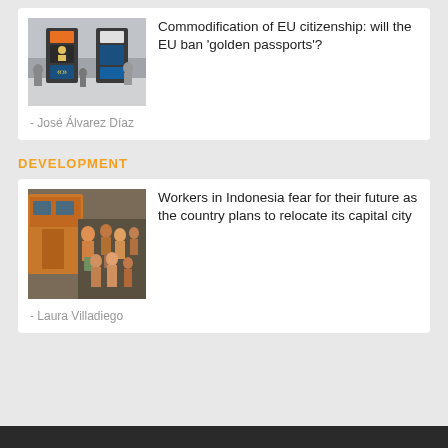[Figure (photo): Airport passport control doors/gates with directional signs]
Commodification of EU citizenship: will the EU ban ‘golden passports’?
- José Álvarez Díaz
DEVELOPMENT
[Figure (photo): Crowd of workers/commuters boarding a train in Indonesia]
Workers in Indonesia fear for their future as the country plans to relocate its capital city
- Laura Villadiego